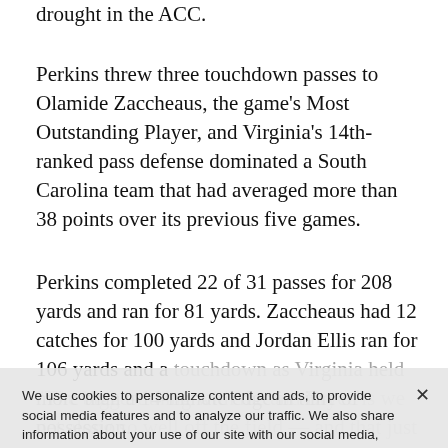drought in the ACC.
Perkins threw three touchdown passes to Olamide Zaccheaus, the game's Most Outstanding Player, and Virginia's 14th-ranked pass defense dominated a South Carolina team that had averaged more than 38 points over its previous five games.
Perkins completed 22 of 31 passes for 208 yards and ran for 81 yards. Zaccheaus had 12 catches for 100 yards and Jordan Ellis ran for 106 yards and a touchdown as Virginia held more than a 14-minute edge in time of possession.
Perkins said he felt chemistry with Zaccheaus the first day they met during spring training at Virginia Western Carolina and his favorite target agreed.
"The biggest thing with me and Bryce is we get along so well off the field — and that just carries over," Zaccheaus said. "Even when I might not make a play
We use cookies to personalize content and ads, to provide social media features and to analyze our traffic. We also share information about your use of our site with our social media, advertising and analytics partners. Privacy Policy
Cookies Settings    Accept All Cookies